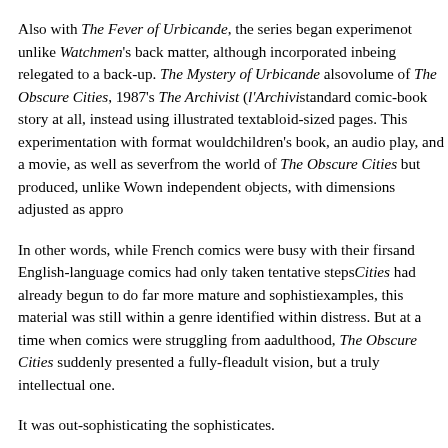Also with The Fever of Urbicande, the series began experime... not unlike Watchmen's back matter, although incorporated in... being relegated to a back-up. The Mystery of Urbicande also volume of The Obscure Cities, 1987's The Archivist (l'Archivi... standard comic-book story at all, instead using illustrated tex... tabloid-sized pages. This experimentation with format would children's book, an audio play, and a movie, as well as sever... from the world of The Obscure Cities but produced, unlike W... own independent objects, with dimensions adjusted as appro...
In other words, while French comics were busy with their firs... and English-language comics had only taken tentative steps Cities had already begun to do far more mature and sophisti... examples, this material was still within a genre identified with in distress. But at a time when comics were struggling from a... adulthood, The Obscure Cities suddenly presented a fully-fle... adult vision, but a truly intellectual one.
It was out-sophisticating the sophisticates.